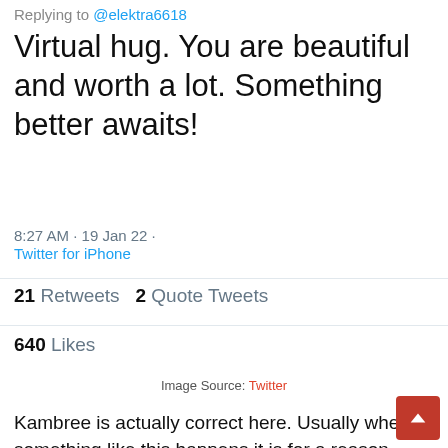Replying to @elektra6618
Virtual hug. You are beautiful and worth a lot. Something better awaits!
8:27 AM · 19 Jan 22 · Twitter for iPhone
21 Retweets   2 Quote Tweets
640 Likes
Image Source: Twitter
Kambree is actually correct here. Usually when something like this happens it is for a reason and something better awaits.